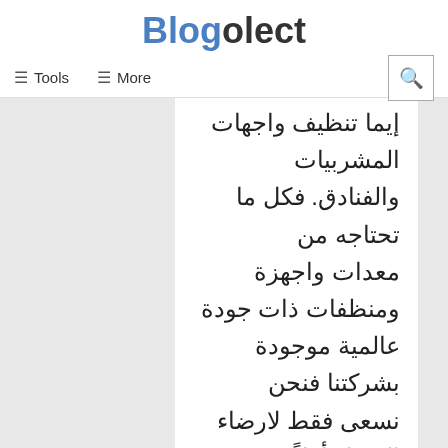Blogolect
≡ Tools   ≡ More
إيما تنظيف واجهات المشربيات والفنادق. فكل ما تحتاجه من معدات واجهزة ومنظفات ذات جودة عالمية موجودة بشركتنا فنحن نسعى فقط لارضاء العميل أولاً واخيراً
Reply